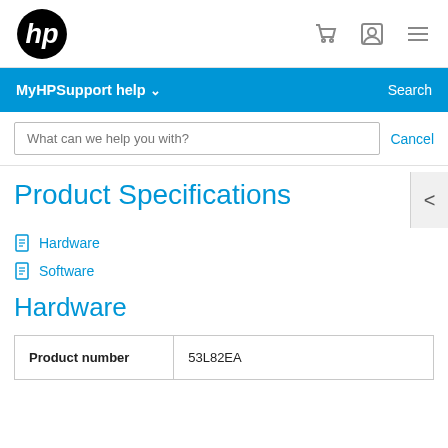HP logo, cart icon, user icon, menu icon
MyHPSupport help ∨  Search
What can we help you with?  Cancel
Product Specifications
Hardware
Software
Hardware
|  |  |
| --- | --- |
| Product number | 53L82EA |